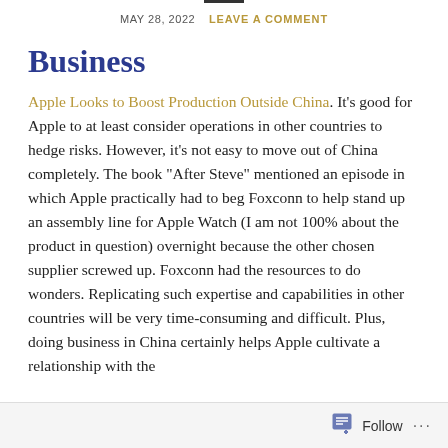MAY 28, 2022   LEAVE A COMMENT
Business
Apple Looks to Boost Production Outside China. It's good for Apple to at least consider operations in other countries to hedge risks. However, it's not easy to move out of China completely. The book “After Steve” mentioned an episode in which Apple practically had to beg Foxconn to help stand up an assembly line for Apple Watch (I am not 100% about the product in question) overnight because the other chosen supplier screwed up. Foxconn had the resources to do wonders. Replicating such expertise and capabilities in other countries will be very time-consuming and difficult. Plus, doing business in China certainly helps Apple cultivate a relationship with the
Follow ...